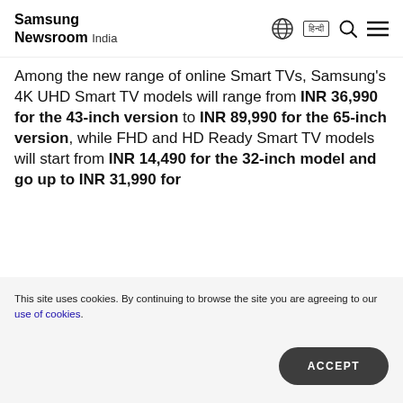Samsung Newsroom India
Among the new range of online Smart TVs, Samsung's 4K UHD Smart TV models will range from INR 36,990 for the 43-inch version to INR 89,990 for the 65-inch version, while FHD and HD Ready Smart TV models will start from INR 14,490 for the 32-inch model and go up to INR 31,990 for
This site uses cookies. By continuing to browse the site you are agreeing to our use of cookies.